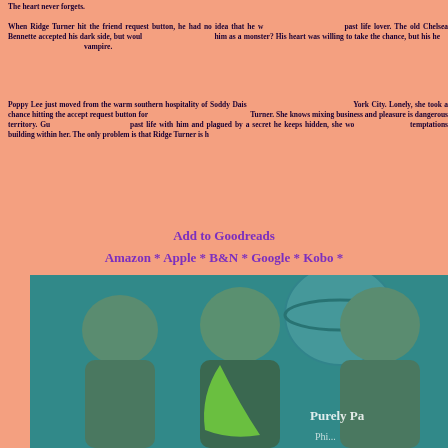The heart never forgets.
When Ridge Turner hit the friend request button, he had no idea that he would reconnect with his past life lover. The old Chelsea Bennette accepted his dark side, but would the new Chelsea see him as a monster? His heart was willing to take the chance, but his head reminded him he was a vampire.
Poppy Lee just moved from the warm southern hospitality of Soddy Daisy, Tennessee to the wilds of New York City. Lonely, she took a chance hitting the accept request button for her new boss, handsome Ridge Turner. She knows mixing business and pleasure is dangerous territory. Guilt ridden for sharing a past life with him and plagued by a secret he keeps hidden, she won't give into the temptations building within her. The only problem is that Ridge Turner is her boss.
Add to Goodreads
Amazon * Apple * B&N * Google * Kobo *
[Figure (photo): Book cover showing muscular figures with a planet in the background, with text 'Purely Pa...' visible]